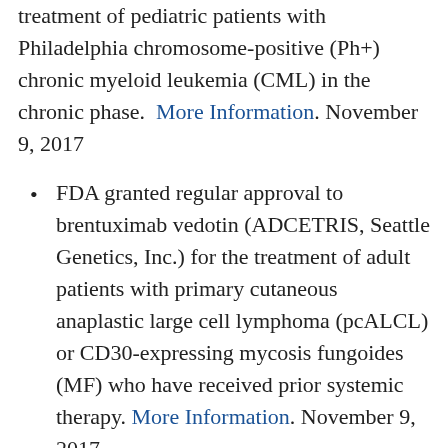treatment of pediatric patients with Philadelphia chromosome-positive (Ph+) chronic myeloid leukemia (CML) in the chronic phase. More Information. November 9, 2017
FDA granted regular approval to brentuximab vedotin (ADCETRIS, Seattle Genetics, Inc.) for the treatment of adult patients with primary cutaneous anaplastic large cell lymphoma (pcALCL) or CD30-expressing mycosis fungoides (MF) who have received prior systemic therapy. More Information. November 9, 2017.
FDA granted regular approval to alectinib (ALECENSA, Hoffmann-La Roche, Inc./Genentech, Inc.) for treatment of patients